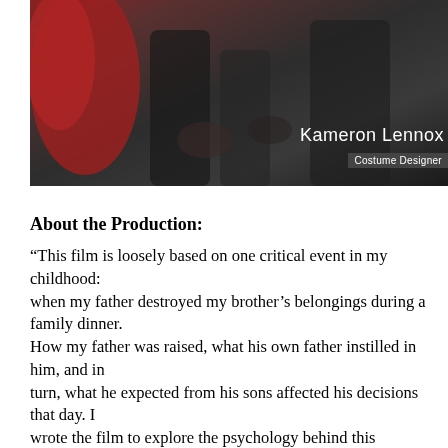[Figure (photo): Dark film still showing people in formal attire, with overlaid text 'Kameron Lennox' and 'Costume Designer']
About the Production:
“This film is loosely based on one critical event in my childhood:
when my father destroyed my brother’s belongings during a family dinner.
How my father was raised, what his own father instilled in him, and in
turn, what he expected from his sons affected his decisions that day. I
wrote the film to explore the psychology behind this haunting memory.
Mixed in are also themes of identity and self-expression, which